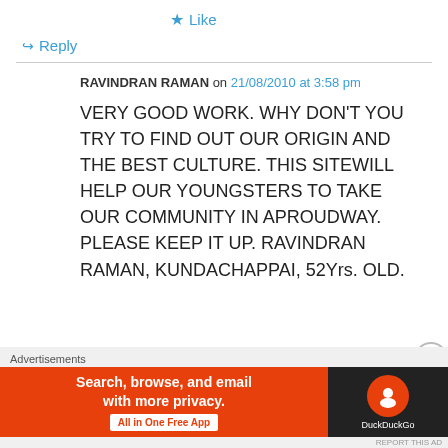★ Like
↪ Reply
RAVINDRAN RAMAN on 21/08/2010 at 3:58 pm
VERY GOOD WORK. WHY DON'T YOU TRY TO FIND OUT OUR ORIGIN AND THE BEST CULTURE. THIS SITEWILL HELP OUR YOUNGSTERS TO TAKE OUR COMMUNITY IN APROUDWAY. PLEASE KEEP IT UP. RAVINDRAN RAMAN, KUNDACHAPPAI, 52Yrs. OLD.
Advertisements
[Figure (screenshot): DuckDuckGo advertisement banner: orange background with text 'Search, browse, and email with more privacy. All in One Free App' and DuckDuckGo logo on dark background on the right.]